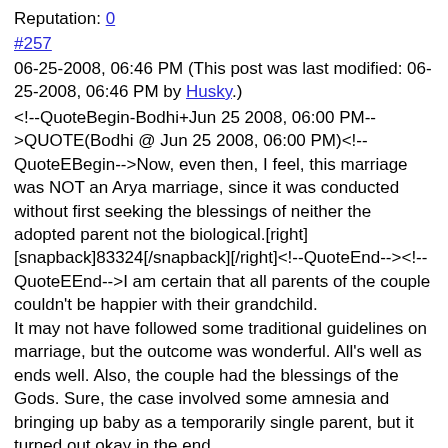Reputation: 0
#257
06-25-2008, 06:46 PM (This post was last modified: 06-25-2008, 06:46 PM by Husky.)
<!--QuoteBegin-Bodhi+Jun 25 2008, 06:00 PM-->QUOTE(Bodhi @ Jun 25 2008, 06:00 PM)<!--QuoteEBegin-->Now, even then, I feel, this marriage was NOT an Arya marriage, since it was conducted without first seeking the blessings of neither the adopted parent not the biological.[right][snapback]83324[/snapback][/right]<!--QuoteEnd--><!--QuoteEEnd-->I am certain that all parents of the couple couldn't be happier with their grandchild.
It may not have followed some traditional guidelines on marriage, but the outcome was wonderful. All's well as ends well. Also, the couple had the blessings of the Gods. Sure, the case involved some amnesia and bringing up baby as a temporarily single parent, but it turned out okay in the end.
I don't think life is made or can be restrained by hard and fast rules. There is fluidity and where the outcome is good - where good and caring people get married - people should be happy for it.
But Bharata's mum and dad's choice to get married does not have